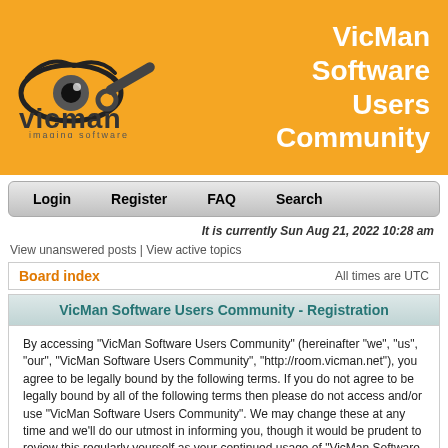[Figure (logo): VicMan imaging software logo with stylized eye/wrench icon and text 'vicman imaging software']
VicMan Software Users Community
Login | Register | FAQ | Search
It is currently Sun Aug 21, 2022 10:28 am
View unanswered posts | View active topics
Board index
All times are UTC
VicMan Software Users Community - Registration
By accessing "VicMan Software Users Community" (hereinafter "we", "us", "our", "VicMan Software Users Community", "http://room.vicman.net"), you agree to be legally bound by the following terms. If you do not agree to be legally bound by all of the following terms then please do not access and/or use "VicMan Software Users Community". We may change these at any time and we'll do our utmost in informing you, though it would be prudent to review this regularly yourself as your continued usage of "VicMan Software Users Community" after changes mean you agree to be legally bound by these terms as they are updated and/or amended.